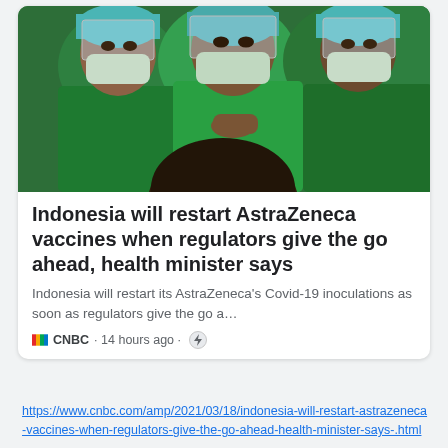[Figure (photo): Healthcare workers in green scrubs and surgical masks and face shields, appearing to administer a vaccine or medical procedure]
Indonesia will restart AstraZeneca vaccines when regulators give the go ahead, health minister says
Indonesia will restart its AstraZeneca's Covid-19 inoculations as soon as regulators give the go a…
CNBC · 14 hours ago
https://www.cnbc.com/amp/2021/03/18/indonesia-will-restart-astrazeneca-vaccines-when-regulators-give-the-go-ahead-health-minister-says-.html